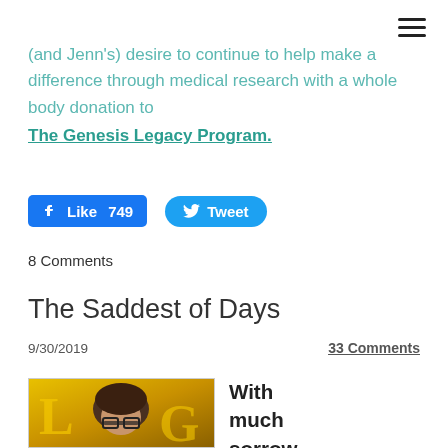(and Jenn's) desire to continue to help make a difference through medical research with a whole body donation to The Genesis Legacy Program.
[Figure (screenshot): Facebook Like button showing 749 likes and Twitter Tweet button]
8 Comments
The Saddest of Days
9/30/2019
33 Comments
[Figure (photo): Close-up photo of a person with dark curly hair and glasses against a blurred background with large yellow letters]
With much sorrow in my